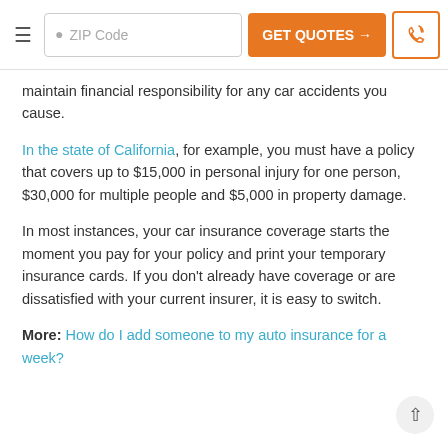ZIP Code | GET QUOTES → | [phone icon]
maintain financial responsibility for any car accidents you cause.
In the state of California, for example, you must have a policy that covers up to $15,000 in personal injury for one person, $30,000 for multiple people and $5,000 in property damage.
In most instances, your car insurance coverage starts the moment you pay for your policy and print your temporary insurance cards. If you don't already have coverage or are dissatisfied with your current insurer, it is easy to switch.
More: How do I add someone to my auto insurance for a week?